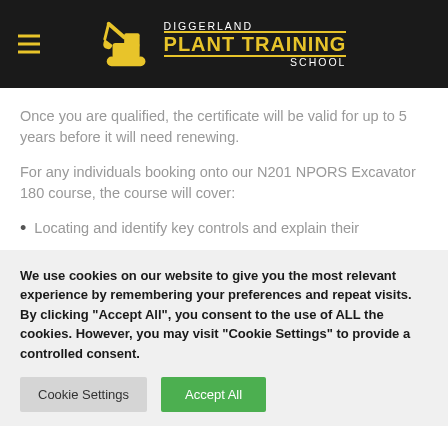DIGGERLAND PLANT TRAINING SCHOOL
Once you are qualified, the certificate will be valid for up to 5 years before it will need renewing.
For any individuals booking onto our N201 NPORS Excavator 180 course, the course will cover:
Locating and identify key controls and explain their
We use cookies on our website to give you the most relevant experience by remembering your preferences and repeat visits. By clicking “Accept All”, you consent to the use of ALL the cookies. However, you may visit "Cookie Settings" to provide a controlled consent.